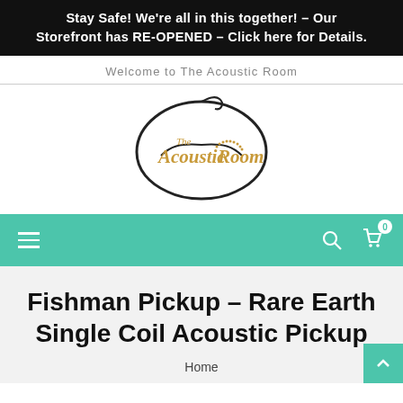Stay Safe! We're all in this together! – Our Storefront has RE-OPENED – Click here for Details.
Welcome to The Acoustic Room
[Figure (logo): The Acoustic Room logo — stylized guitar body outline in black with 'The Acoustic Room' text in golden/tan script lettering]
[Figure (screenshot): Teal navigation bar with hamburger menu on left and search/cart icons on right; cart shows badge with 0]
Fishman Pickup - Rare Earth Single Coil Acoustic Pickup
Home